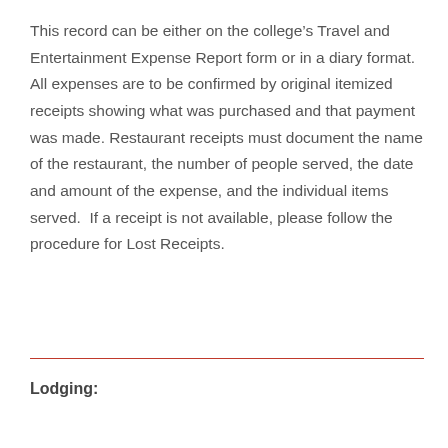This record can be either on the college's Travel and Entertainment Expense Report form or in a diary format.  All expenses are to be confirmed by original itemized receipts showing what was purchased and that payment was made. Restaurant receipts must document the name of the restaurant, the number of people served, the date and amount of the expense, and the individual items served.  If a receipt is not available, please follow the procedure for Lost Receipts.
Lodging: